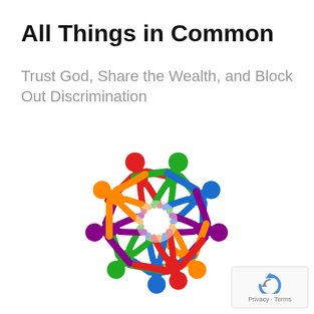All Things in Common
Trust God, Share the Wealth, and Block Out Discrimination
[Figure (illustration): Colorful illustration of diverse people (depicted as simple humanoid figures in red, green, blue, purple, orange, yellow, teal) standing in a circle holding hands, forming a ring of unity and inclusion.]
[Figure (logo): reCAPTCHA logo with Privacy and Terms text]